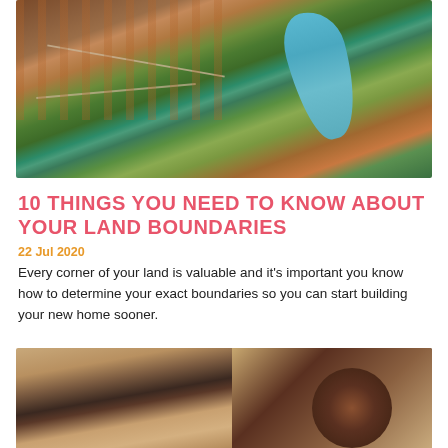[Figure (photo): Aerial view of a residential land development with orange-red soil, street grid of new lots, and a river/waterway visible in the upper right portion of the image]
10 THINGS YOU NEED TO KNOW ABOUT YOUR LAND BOUNDARIES
22 Jul 2020
Every corner of your land is valuable and it's important you know how to determine your exact boundaries so you can start building your new home sooner.
[Figure (photo): Close-up photo of two people (appears to be a couple), one with curly hair, looking down at something, with cardboard boxes visible in the background suggesting a moving/new home context]